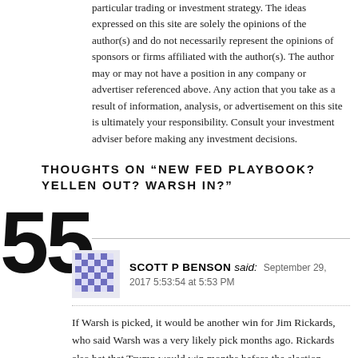particular trading or investment strategy. The ideas expressed on this site are solely the opinions of the author(s) and do not necessarily represent the opinions of sponsors or firms affiliated with the author(s). The author may or may not have a position in any company or advertiser referenced above. Any action that you take as a result of information, analysis, or advertisement on this site is ultimately your responsibility. Consult your investment adviser before making any investment decisions.
THOUGHTS ON “NEW FED PLAYBOOK? YELLEN OUT? WARSH IN?”
55
SCOTT P BENSON said: September 29, 2017 5:53:54 at 5:53 PM
If Warsh is picked, it would be another win for Jim Rickards, who said Warsh was a very likely pick months ago. Rickards also bet that Trump would win months before the election when everyone else was on the Hillary bandwagon. Ive been watching to see if Rickards and his extensive background was for real or not. He may just be.